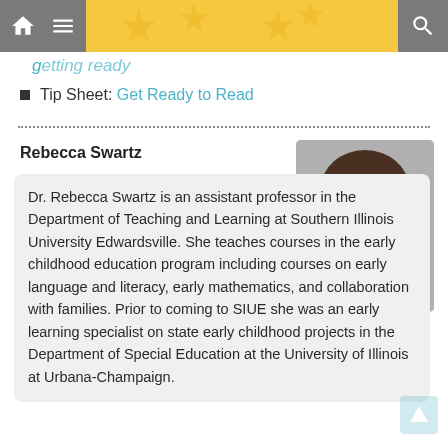Navigation bar with home, menu, and search icons
Tip Sheet: Get Ready to Read
Rebecca Swartz
[Figure (photo): Headshot photo of Dr. Rebecca Swartz, a woman with curly brown hair wearing a dark blazer and orange necklace, against a gray background.]
Dr. Rebecca Swartz is an assistant professor in the Department of Teaching and Learning at Southern Illinois University Edwardsville. She teaches courses in the early childhood education program including courses on early language and literacy, early mathematics, and collaboration with families. Prior to coming to SIUE she was an early learning specialist on state early childhood projects in the Department of Special Education at the University of Illinois at Urbana-Champaign.